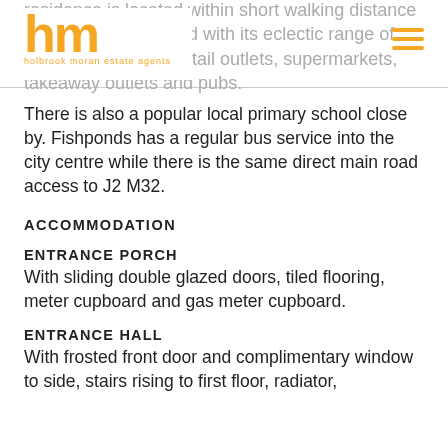[Figure (logo): Holbrook Moran estate agents logo with orange 'hm' letters and hamburger menu icon]
residence is located within short walking distance of the Fishponds road with its eclectic range of shopping facilities, retail outlets, supermarkets, takeaway outlets and pubs. There is also a popular local primary school close by. Fishponds has a regular bus service into the city centre while there is the same direct main road access to J2 M32.
ACCOMMODATION
ENTRANCE PORCH
With sliding double glazed doors, tiled flooring, meter cupboard and gas meter cupboard.
ENTRANCE HALL
With frosted front door and complimentary window to side, stairs rising to first floor, radiator,